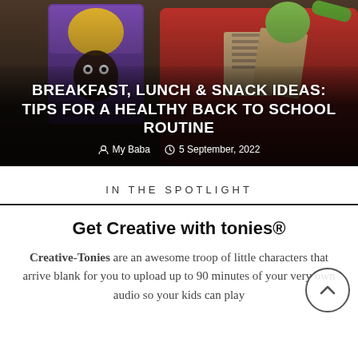[Figure (photo): Hero image of a red lunchbox with sandwiches, Sun-Maid raisins box, and fresh fruit/vegetables]
BREAKFAST, LUNCH & SNACK IDEAS: TIPS FOR A HEALTHY BACK TO SCHOOL ROUTINE
My Baba  5 September, 2022
IN THE SPOTLIGHT
Get Creative with tonies®
Creative-Tonies are an awesome troop of little characters that arrive blank for you to upload up to 90 minutes of your very own audio so your kids can play